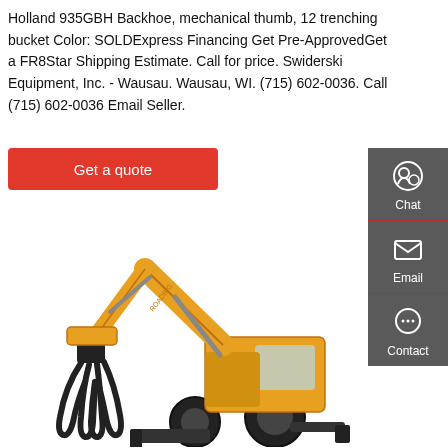Holland 935GBH Backhoe, mechanical thumb, 12 trenching bucket Color: SOLDExpress Financing Get Pre-ApprovedGet a FR8Star Shipping Estimate. Call for price. Swiderski Equipment, Inc. - Wausau. Wausau, WI. (715) 602-0036. Call (715) 602-0036 Email Seller.
Get a quote
[Figure (illustration): Sidebar with Chat, Email, and Contact icons on a dark grey background]
[Figure (photo): Yellow wheeled excavator with grapple attachment on white background]